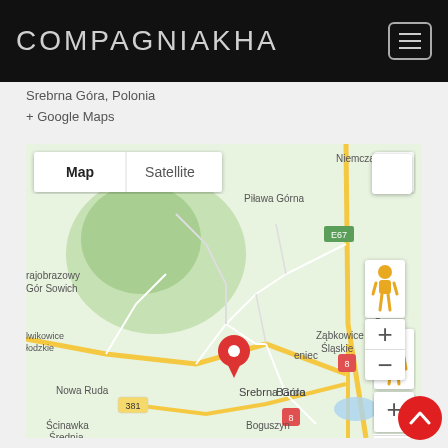COMPAGNIAKHA
Srebrna Góra, Polonia
+ Google Maps
[Figure (map): Google Maps embed showing Srebrna Góra, Polonia with a red location pin. Map view is selected (vs Satellite). Surrounding towns visible: Niemcza, Piława Górna, Ząbkowice Śląskie, Nowa Ruda, Scinawka Srednia, Bardo, Boguszyn. Roads 381, 8, E67 visible. Map controls include fullscreen button, pegman/street view icon, zoom in (+) and zoom out (-) buttons.]